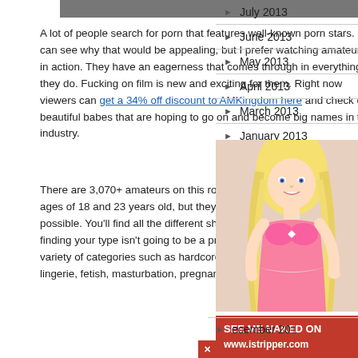[Figure (photo): Partial image at top of main column (cropped)]
A lot of people search for porn that features well-known porn stars. I can see why that would be appealing, but I prefer watching amateurs in action. They have an eagerness that comes through in everything they do. Fucking on film is new and exciting for them. Right now viewers can get a 34% off discount to AMKingdom here and check out beautiful babes that are hoping to go on and become big names in the industry.
There are 3,070+ amateurs on this roster. They're all between the ages of 18 and 23 years old, but they vary in about every way possible. You'll find all the different shapes and sizes represented, so finding your type isn't going to be a problem. You'll get to see them in a variety of categories such as hardcore, coeds, blowjobs, lesbian, lingerie, fetish, masturbation, pregnant, uniforms, and
July 2013
June 2013
May 2013
April 2013
March 2013
January 2013
December 2012
November 2012
October 2012
r 2012
J y
[Figure (photo): Blonde woman in pink lingerie advertisement for istripper.com]
SEE ME NAKED ON
www.istripper.com